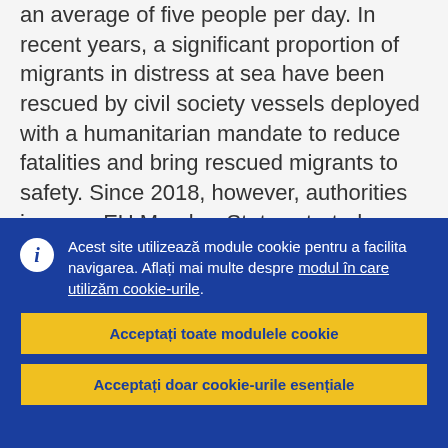an average of five people per day. In recent years, a significant proportion of migrants in distress at sea have been rescued by civil society vessels deployed with a humanitarian mandate to reduce fatalities and bring rescued migrants to safety. Since 2018, however, authorities in some EU Member States started viewing civil society-deployed rescue vessels with hostility. As a reaction, national authorities initiated about 40 administrative and criminal proceedings against crew members or vessels, including seizing the latter. In some
Acest site utilizează module cookie pentru a facilita navigarea. Aflați mai multe despre modul în care utilizăm cookie-urile.
Acceptați toate modulele cookie
Acceptați doar cookie-urile esențiale